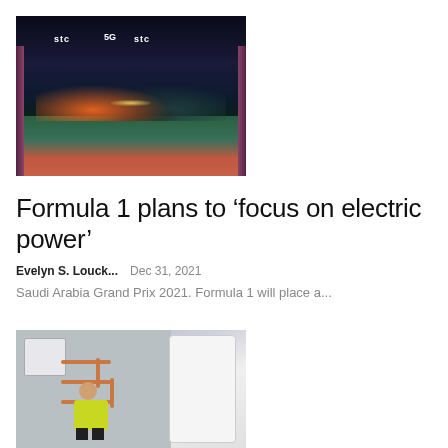[Figure (photo): Formula 1 race start at the Saudi Arabia Grand Prix 2021, night race with cars on track, STC 5G branding visible on barriers, colorful track surface]
Formula 1 plans to ‘focus on electric power’
Evelyn S. Louck...    Dec 31, 2021
Saudi Arabia Grand Prix 2021. Formula 1 will place a...
[Figure (photo): A worker in a high-visibility yellow vest installing or servicing plumbing near a boiler, with copper pipes visible on the wall]